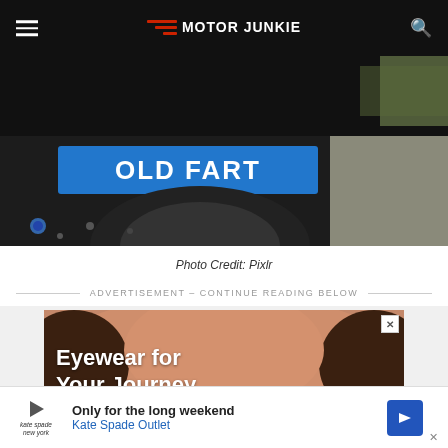MOTOR JUNKIE
[Figure (photo): Close-up photo of a vehicle bumper with a blue sticker reading 'OLD FART' in white letters]
Photo Credit: Pixlr
ADVERTISEMENT - CONTINUE READING BELOW
[Figure (photo): Advertisement image showing close-up of person's face with text 'Eyewear for Your Journey']
Advertisement
Only for the long weekend Kate Spade Outlet